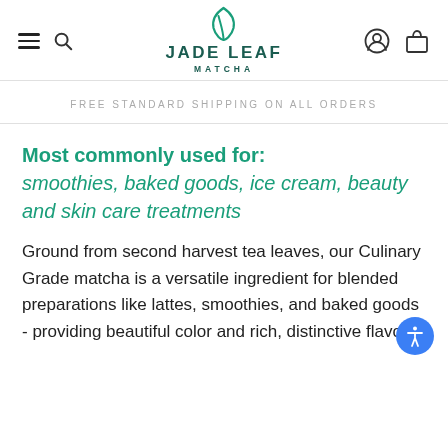JADE LEAF MATCHA
FREE STANDARD SHIPPING ON ALL ORDERS
Most commonly used for:
smoothies, baked goods, ice cream, beauty and skin care treatments
Ground from second harvest tea leaves, our Culinary Grade matcha is a versatile ingredient for blended preparations like lattes, smoothies, and baked goods - providing beautiful color and rich, distinctive flavor.